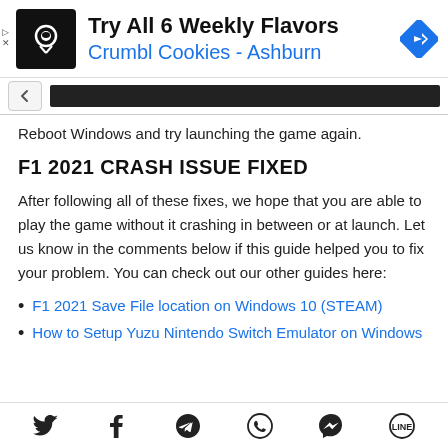[Figure (other): Advertisement banner for Crumbl Cookies - Ashburn with logo icon and navigation arrow]
[Figure (screenshot): Browser navigation bar with back arrow and dark address bar]
Reboot Windows and try launching the game again.
F1 2021 CRASH ISSUE FIXED
After following all of these fixes, we hope that you are able to play the game without it crashing in between or at launch. Let us know in the comments below if this guide helped you to fix your problem. You can check out our other guides here:
F1 2021 Save File location on Windows 10 (STEAM)
How to Setup Yuzu Nintendo Switch Emulator on Windows
[Figure (other): Social media sharing icons bar: Twitter, Facebook, Telegram, WhatsApp, Messenger, LINE]